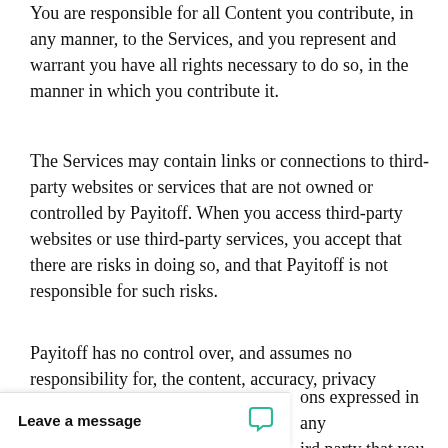You are responsible for all Content you contribute, in any manner, to the Services, and you represent and warrant you have all rights necessary to do so, in the manner in which you contribute it.
The Services may contain links or connections to third-party websites or services that are not owned or controlled by Payitoff. When you access third-party websites or use third-party services, you accept that there are risks in doing so, and that Payitoff is not responsible for such risks.
Payitoff has no control over, and assumes no responsibility for, the content, accuracy, privacy policies, or practices of or opinions expressed in any third party that you